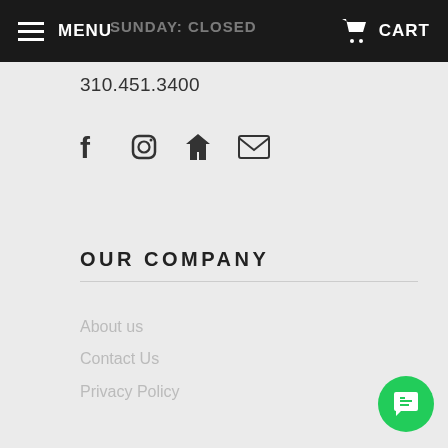MENU | CART
SUNDAY: CLOSED
310.451.3400
[Figure (other): Social media icons: Facebook, Instagram, Houzz, Email]
OUR COMPANY
About us
Contact Us
Privacy Policy
CA SB 657
Search
Terms of Service
Refund policy
[Figure (other): Green chat bubble icon in bottom right corner]